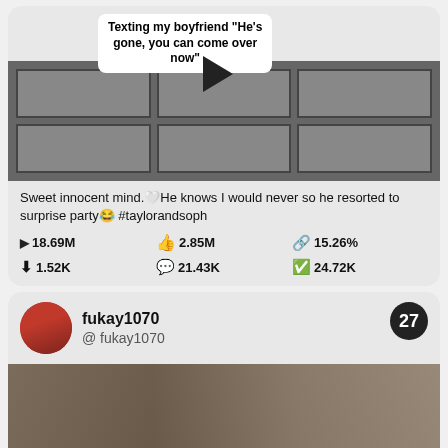[Figure (screenshot): TikTok video thumbnail showing solar panels with text overlay reading 'Texting my boyfriend He's gone, you can come over now' with play button]
Sweet innocent mind.❤He knows I would never so he resorted to surprise party😂 #taylorandsoph
► 18.69M   👍2.85M   🔗15.26%   ↓1.52K   💬21.43K   ✅24.72K
fukay1070
@ fukay1070
27
[Figure (screenshot): TikTok video thumbnail showing crowd scene outdoors]